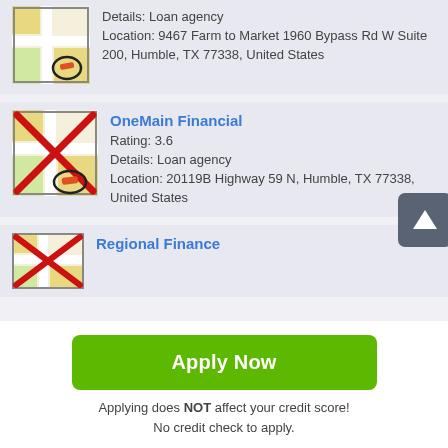[Figure (screenshot): Map thumbnail with red X overlay and circled pencil icon for first listing]
Details: Loan agency
Location: 9467 Farm to Market 1960 Bypass Rd W Suite 200, Humble, TX 77338, United States
[Figure (screenshot): Map thumbnail with red X overlay and circled pencil icon for OneMain Financial]
OneMain Financial
Rating: 3.6
Details: Loan agency
Location: 20119B Highway 59 N, Humble, TX 77338, United States
[Figure (screenshot): Map thumbnail with red X overlay for Regional Finance]
Regional Finance
Apply Now
Applying does NOT affect your credit score!
No credit check to apply.